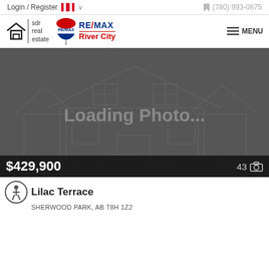Login / Register  (780) 993-0875
[Figure (logo): SDR Real Estate logo with house icon and RE/MAX River City logo with balloon icon, plus MENU navigation button]
[Figure (photo): Dark grey placeholder image of a house outline with 'Loading Photo...' text overlay]
$429,900  43 photos
Lilac Terrace
SHERWOOD PARK, AB T8H 1Z2